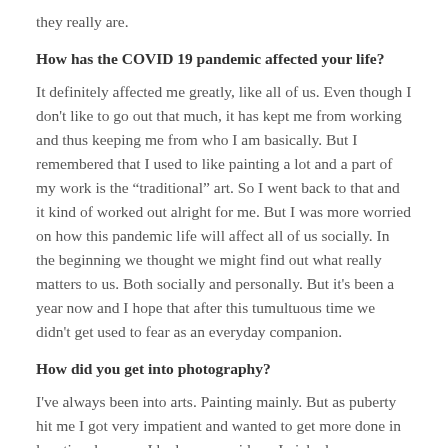they really are.
How has the COVID 19 pandemic affected your life?
It definitely affected me greatly, like all of us. Even though I don't like to go out that much, it has kept me from working and thus keeping me from who I am basically. But I remembered that I used to like painting a lot and a part of my work is the “traditional” art. So I went back to that and it kind of worked out alright for me. But I was more worried on how this pandemic life will affect all of us socially. In the beginning we thought we might find out what really matters to us. Both socially and personally. But it's been a year now and I hope that after this tumultuous time we didn't get used to fear as an everyday companion.
How did you get into photography?
I've always been into arts. Painting mainly. But as puberty hit me I got very impatient and wanted to get more done in less time because I had so many ideas. I picked up a